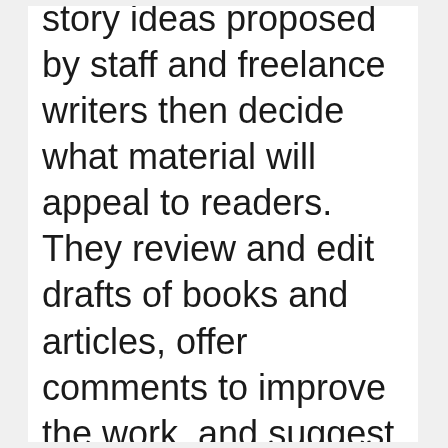story ideas proposed by staff and freelance writers then decide what material will appeal to readers. They review and edit drafts of books and articles, offer comments to improve the work, and suggest possible titles. In addition, they may oversee the production of publications. In the book-publishing industry, an editor's primary responsibility is to review proposals for books and decide whether to buy the publication rights from the author. Major newspapers and